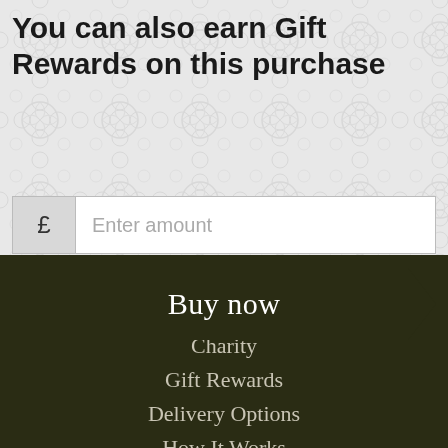You can also earn Gift Rewards on this purchase
£ Enter amount
Buy now
About Us
Charity
Gift Rewards
Delivery Options
How It Works
FAQs